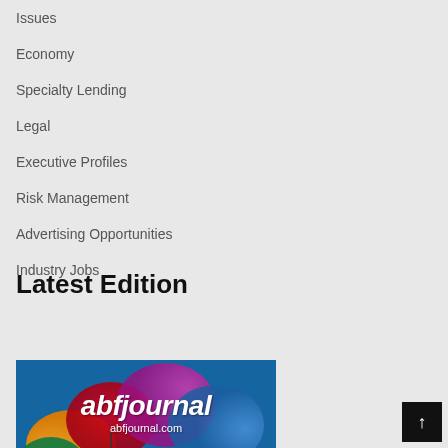Issues
Economy
Specialty Lending
Legal
Executive Profiles
Risk Management
Advertising Opportunities
Industry Jobs
Latest Edition
[Figure (photo): ABF Journal magazine cover with colorful umbrella imagery and the abfjournal.com logo, Q2 2022 Most Innovative Companies Issue]